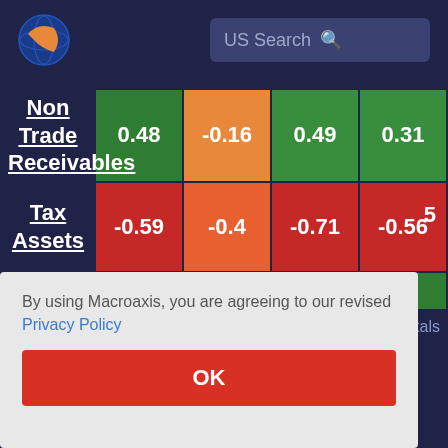[Figure (screenshot): Macroaxis website header with orange/blue globe logo and US Search input field]
|  | Col1 | Col2 | Col3 | Col4 |
| --- | --- | --- | --- | --- |
| Non Trade Receivables | 0.48 | -0.16 | 0.49 | 0.31 |
| Tax Assets | -0.59 | -0.4 | -0.71 | -0.56 |
By using Macroaxis, you are agreeing to our revised Privacy Policy
OK